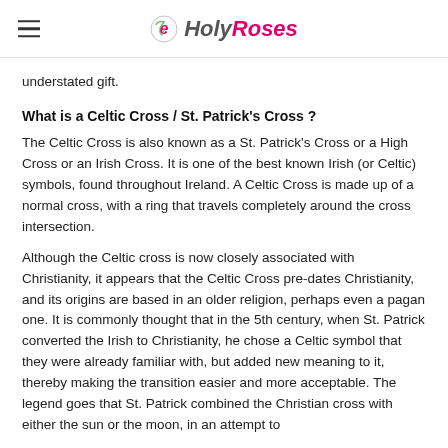HolyRoses
understated gift.
What is a Celtic Cross / St. Patrick's Cross ?
The Celtic Cross is also known as a St. Patrick's Cross or a High Cross or an Irish Cross. It is one of the best known Irish (or Celtic) symbols, found throughout Ireland. A Celtic Cross is made up of a normal cross, with a ring that travels completely around the cross intersection.
Although the Celtic cross is now closely associated with Christianity, it appears that the Celtic Cross pre-dates Christianity, and its origins are based in an older religion, perhaps even a pagan one. It is commonly thought that in the 5th century, when St. Patrick converted the Irish to Christianity, he chose a Celtic symbol that they were already familiar with, but added new meaning to it, thereby making the transition easier and more acceptable. The legend goes that St. Patrick combined the Christian cross with either the sun or the moon, in an attempt to